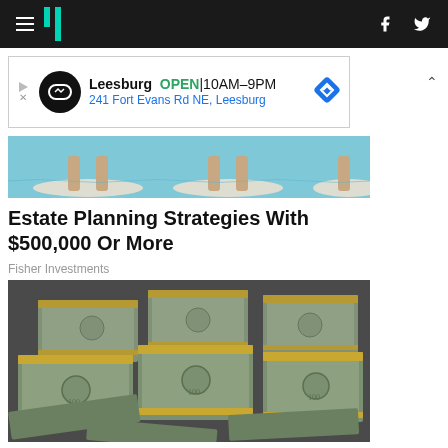HuffPost navigation with hamburger menu, logo, Facebook and Twitter icons
[Figure (advertisement): Leesburg OPEN 10AM-9PM, 241 Fort Evans Rd NE, Leesburg ad banner]
[Figure (photo): People paddle boarding on water, partial view of legs and boards]
Estate Planning Strategies With $500,000 Or More
Fisher Investments
[Figure (photo): Stacks of US $100 dollar bills bundled together, overhead view]
Ashburn: Bank Accounts With 7X the